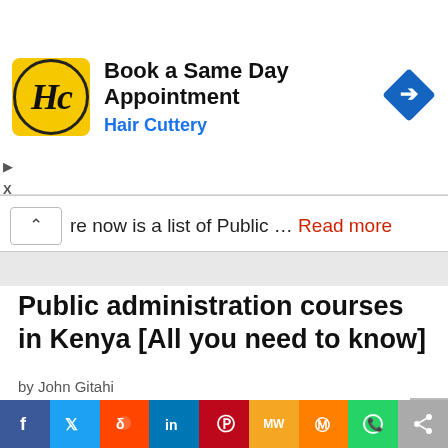[Figure (infographic): Hair Cuttery advertisement banner with yellow HC logo, text 'Book a Same Day Appointment' and 'Hair Cuttery' in blue, and a blue diamond navigation icon on the right]
re now is a list of Public … Read more
Public administration courses in Kenya [All you need to know]
by John Gitahi
[Figure (photo): Sky with clouds photo strip at bottom of article]
[Figure (infographic): Social sharing bar with Facebook, Twitter, Reddit, LinkedIn, Pinterest, MeWe, Mix, WhatsApp, and share buttons]